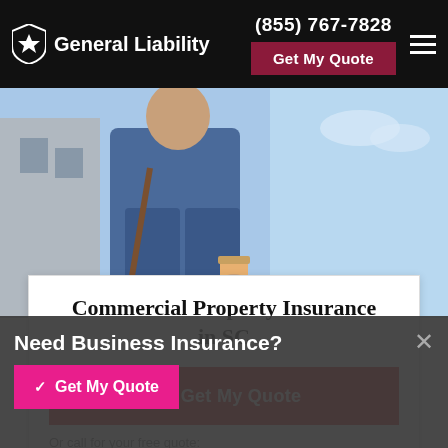General Liability | (855) 767-7828 | Get My Quote
[Figure (photo): Man in blue jacket holding a coffee cup, urban background with blue sky]
Commercial Property Insurance in SC
Get My Quote
Or call for your free quote:
(803) 500-9096
Get the best SC small business insurance quotes
Need Business Insurance?
✓ Get My Quote